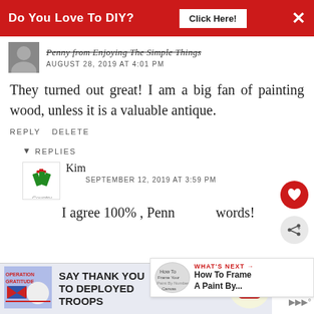[Figure (screenshot): Red banner ad: 'Do You Love To DIY? Click Here!' with X close button]
Penny from Enjoying The Simple Things
AUGUST 28, 2019 AT 4:01 PM
They turned out great! I am a big fan of painting wood, unless it is a valuable antique.
REPLY DELETE
REPLIES
Kim
SEPTEMBER 12, 2019 AT 3:59 PM
I agree 100% , Penn words!
[Figure (screenshot): What's Next overlay: How To Frame A Paint By...]
[Figure (screenshot): Operation Gratitude ad: SAY THANK YOU TO DEPLOYED TROOPS]